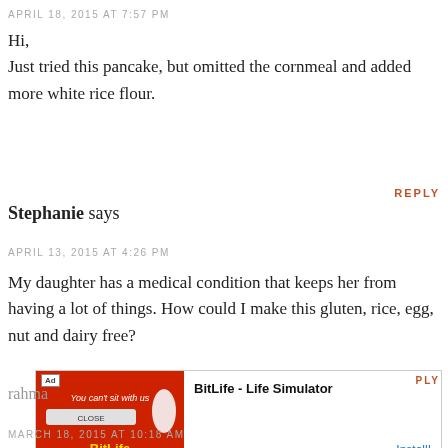APRIL 18, 2015 AT 7:57 PM
Hi,
Just tried this pancake, but omitted the cornmeal and added more white rice flour.
REPLY
Stephanie says
APRIL 13, 2015 AT 4:26 PM
My daughter has a medical condition that keeps her from having a lot of things. How could I make this gluten, rice, egg, nut and dairy free?
[Figure (screenshot): Advertisement banner for BitLife - Life Simulator app with red background image and install button]
rahma...
PLY
MARCH 18, 2015 AT 10:18 AM